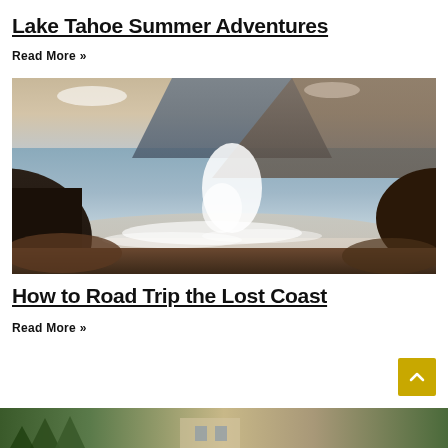[Figure (photo): Partial top image cropped at top of page, appears to be a nature/outdoor scene]
Lake Tahoe Summer Adventures
Read More »
[Figure (photo): Coastal scene with waves crashing against rocks, mountains in background, warm sunset light — Lost Coast / Big Sur style]
How to Road Trip the Lost Coast
Read More »
[Figure (photo): Partial bottom image, appears to be trees and a building]